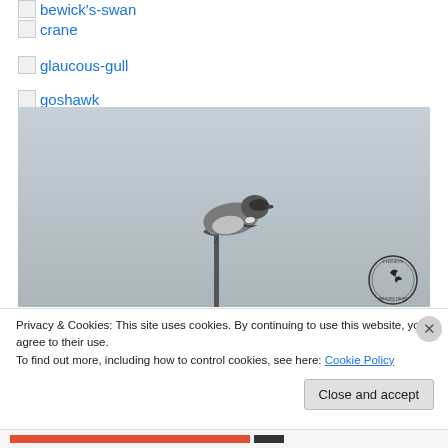🖼 bewick's-swan
🖼 crane
🖼 glaucous-gull
🖼 goshawk
[Figure (photo): A bird (shrike or similar) perched on top of a thin vertical pole against a grey overcast sky. A circular wildlife trust logo is visible in the bottom-right corner of the photo.]
Privacy & Cookies: This site uses cookies. By continuing to use this website, you agree to their use.
To find out more, including how to control cookies, see here: Cookie Policy
Close and accept